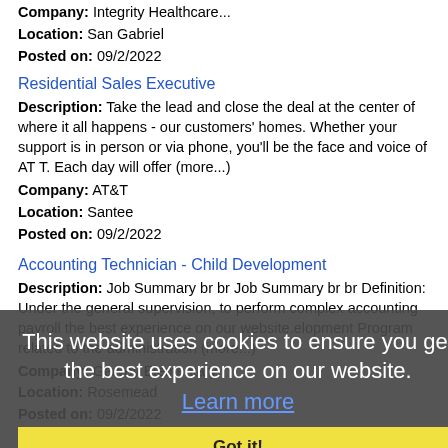Company: Integrity Healthcare... Location: San Gabriel Posted on: 09/2/2022
Residential Sales Executive
Description: Take the lead and close the deal at the center of where it all happens - our customers' homes. Whether your support is in person or via phone, you'll be the face and voice of AT T. Each day will offer (more...)
Company: AT&T Location: Santee Posted on: 09/2/2022
Accounting Technician - Child Development
Description: Job Summary br br Job Summary br br Definition: Under the general supervision, to perform complex accounting payroll the best experience on our website. Development Program related to the administration (more...)
Company: Garvey Elementary Location: Rosemead Posted on: 09/2/2022
This website uses cookies to ensure you get the best experience on our website. Learn more Got it!
Loading more jobs